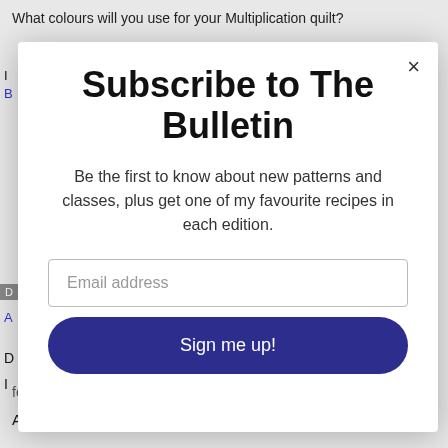What colours will you use for your Multiplication quilt?
[Figure (screenshot): Subscribe to The Bulletin modal popup overlay on a webpage. Contains title 'Subscribe to The Bulletin', descriptive text, email address field, and 'Sign me up!' button.]
Subscribe to The Bulletin
Be the first to know about new patterns and classes, plus get one of my favourite recipes in each edition.
Email address
Sign me up!
festive now 🙂 I've been looking forward to writing these Advent devotions for weeks now, so let's dive right into it!